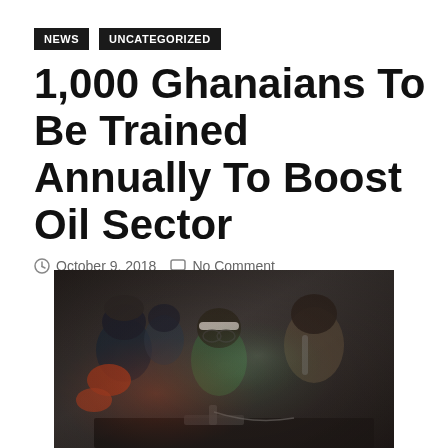NEWS   UNCATEGORIZED
1,000 Ghanaians To Be Trained Annually To Boost Oil Sector
October 9, 2018   No Comment
[Figure (photo): Workers in blue and green overalls, some wearing helmets, gathered around a workbench doing technical/mechanical work in an industrial setting.]